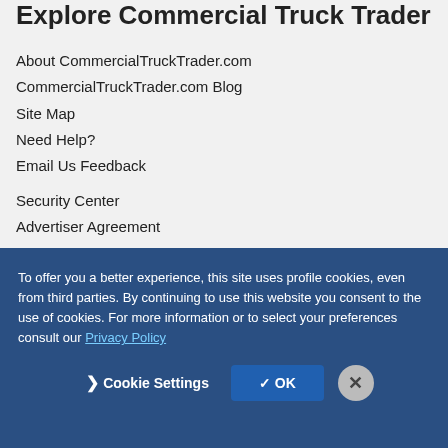Explore Commercial Truck Trader
About CommercialTruckTrader.com
CommercialTruckTrader.com Blog
Site Map
Need Help?
Email Us Feedback
Security Center
Advertiser Agreement
Community Guidelines
Copyright
Privacy Policy
Terms of Use
Commercial Truck Trader Affiliates
To offer you a better experience, this site uses profile cookies, even from third parties. By continuing to use this website you consent to the use of cookies. For more information or to select your preferences consult our Privacy Policy